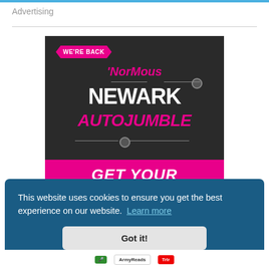Advertising
[Figure (advertisement): Newark Autojumble advertisement with dark background, pink splash badge reading 'WE'RE BACK', pink text 'NorMous', white bold text 'NEWARK', pink bold italic text 'AUTOJUMBLE', and a pink banner reading 'GET YOUR']
This website uses cookies to ensure you get the best experience on our website.  Learn more
Got it!